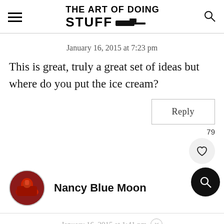THE ART OF DOING STUFF
January 16, 2015 at 7:23 pm
This is great, truly a great set of ideas but where do you put the ice cream?
Reply
79
Nancy Blue Moon
January 16, 2015 at 1:41 pm